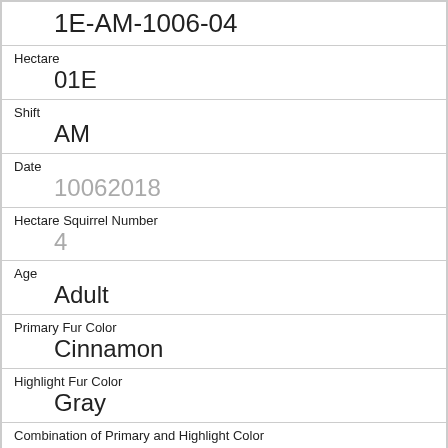1E-AM-1006-04
Hectare
01E
Shift
AM
Date
10062018
Hectare Squirrel Number
4
Age
Adult
Primary Fur Color
Cinnamon
Highlight Fur Color
Gray
Combination of Primary and Highlight Color
Cinnamon+Gray
Color notes
Location